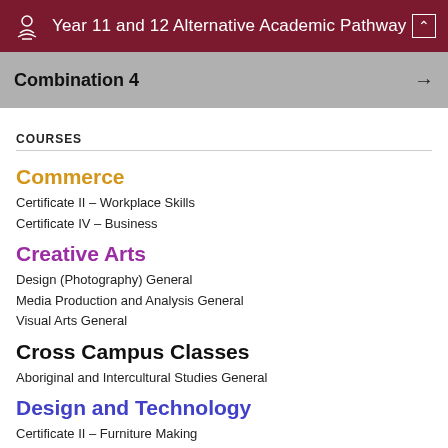Year 11 and 12 Alternative Academic Pathway
Combination 4
COURSES
Commerce
Certificate II – Workplace Skills
Certificate IV – Business
Creative Arts
Design (Photography) General
Media Production and Analysis General
Visual Arts General
Cross Campus Classes
Aboriginal and Intercultural Studies General
Design and Technology
Certificate II – Furniture Making